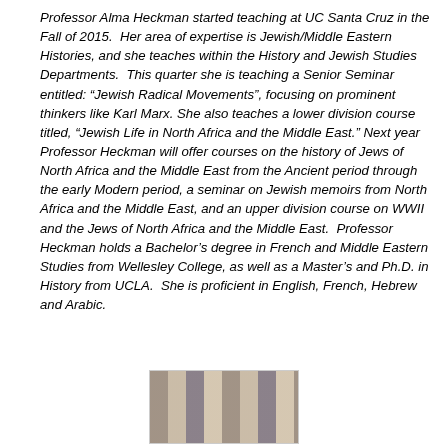Professor Alma Heckman started teaching at UC Santa Cruz in the Fall of 2015. Her area of expertise is Jewish/Middle Eastern Histories, and she teaches within the History and Jewish Studies Departments. This quarter she is teaching a Senior Seminar entitled: “Jewish Radical Movements”, focusing on prominent thinkers like Karl Marx. She also teaches a lower division course titled, “Jewish Life in North Africa and the Middle East.” Next year Professor Heckman will offer courses on the history of Jews of North Africa and the Middle East from the Ancient period through the early Modern period, a seminar on Jewish memoirs from North Africa and the Middle East, and an upper division course on WWII and the Jews of North Africa and the Middle East. Professor Heckman holds a Bachelor’s degree in French and Middle Eastern Studies from Wellesley College, as well as a Master’s and Ph.D. in History from UCLA. She is proficient in English, French, Hebrew and Arabic.
[Figure (photo): Partial photo of Professor Alma Heckman, cropped at bottom of page]